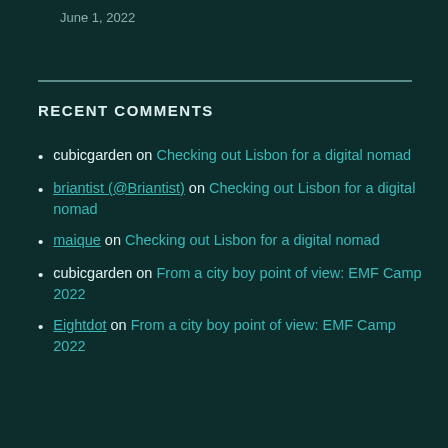June 1, 2022
RECENT COMMENTS
cubicgarden on Checking out Lisbon for a digital nomad
briantist (@Briantist) on Checking out Lisbon for a digital nomad
maique on Checking out Lisbon for a digital nomad
cubicgarden on From a city boy point of view: EMF Camp 2022
Eightdot on From a city boy point of view: EMF Camp 2022